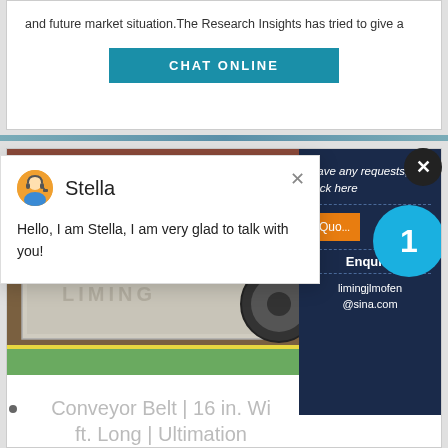and future market situation. The Research Insights has tried to give a
[Figure (screenshot): Teal/blue CHAT ONLINE button]
[Figure (photo): Industrial machine photo (LIMING crusher/conveyor) with right panel showing 'Have any requests, click here', Quote button, Enquiry, limingjlmofen@sina.com, and blue badge with number 1]
[Figure (screenshot): Chat popup overlay with avatar of Stella and message: Hello, I am Stella, I am very glad to talk with you!]
Conveyor Belt | 16 in. Wi... ft. Long | Ultimation